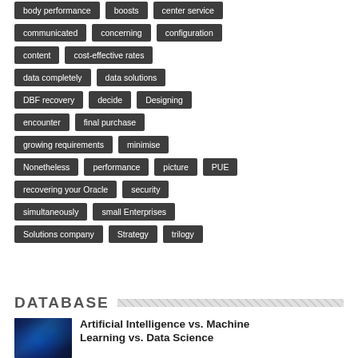body performance
boosts
center service
communicated
concerning
configuration
content
cost-effective rates
data completely
data solutions
DBF recovery
decide
Designing
encounter
final purchase
growing requirements
minimise
Nonetheless
performance
picture
PUE
recovering your Oracle
security
simultaneously
small Enterprises
Solutions company
Strategy
trilogy
DATABASE
Artificial Intelligence vs. Machine Learning vs. Data Science